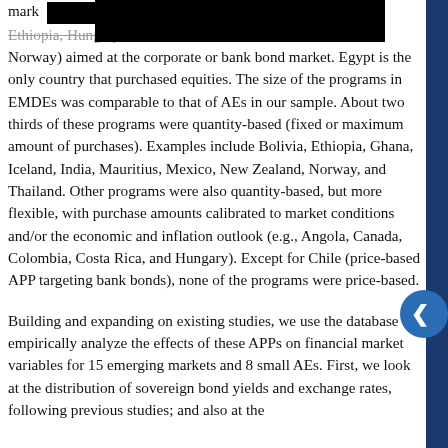mark experience. [redacted] le, Ethiopia, Hungary, Israel, Korea, Mauritius, and Norway) aimed at the corporate or bank bond market. Egypt is the only country that purchased equities. The size of the programs in EMDEs was comparable to that of AEs in our sample. About two thirds of these programs were quantity-based (fixed or maximum amount of purchases). Examples include Bolivia, Ethiopia, Ghana, Iceland, India, Mauritius, Mexico, New Zealand, Norway, and Thailand. Other programs were also quantity-based, but more flexible, with purchase amounts calibrated to market conditions and/or the economic and inflation outlook (e.g., Angola, Canada, Colombia, Costa Rica, and Hungary). Except for Chile (price-based APP targeting bank bonds), none of the programs were price-based.
Building and expanding on existing studies, we use the database to empirically analyze the effects of these APPs on financial market variables for 15 emerging markets and 8 small AEs. First, we look at the distribution of sovereign bond yields and exchange rates, following previous studies; and also at the